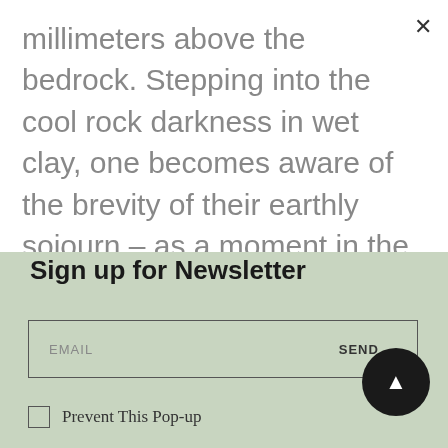millimeters above the bedrock. Stepping into the cool rock darkness in wet clay, one becomes aware of the brevity of their earthly sojourn – as a moment in the timelessness of nature, written by the amazing forms of this unique underworld. The world of caves, which will always hide some magic laced with mystery and
Sign up for Newsletter
EMAIL    SEND →
Prevent This Pop-up